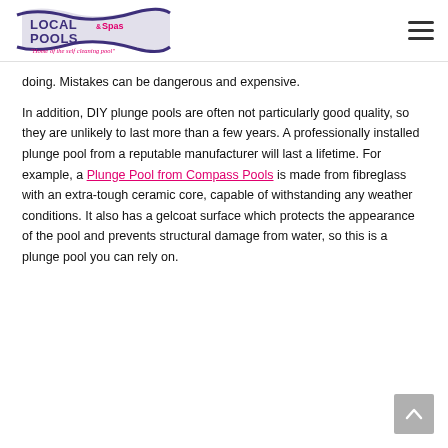LOCAL POOLS & Spas — Home of the self cleaning pool
doing. Mistakes can be dangerous and expensive.
In addition, DIY plunge pools are often not particularly good quality, so they are unlikely to last more than a few years. A professionally installed plunge pool from a reputable manufacturer will last a lifetime. For example, a Plunge Pool from Compass Pools is made from fibreglass with an extra-tough ceramic core, capable of withstanding any weather conditions. It also has a gelcoat surface which protects the appearance of the pool and prevents structural damage from water, so this is a plunge pool you can rely on.